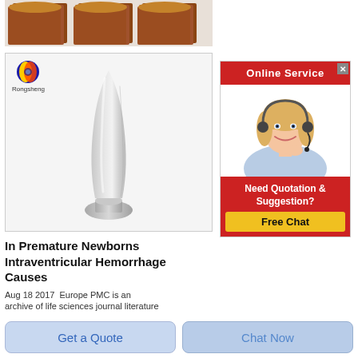[Figure (photo): Partial view of wooden blocks (brown/reddish) at the top of the page]
[Figure (photo): Product photo: white powder in a vase/flask-shaped container on a stand, with Rongsheng logo in upper left corner of card]
In Premature Newborns Intraventricular Hemorrhage Causes
Aug 18 2017  Europe PMC is an
archive of life sciences journal literature
[Figure (photo): Online Service advertisement: red header bar with 'Online Service', smiling female agent with headset, red bottom section with 'Need Quotation & Suggestion?' and yellow 'Free Chat' button]
Get a Quote
Chat Now